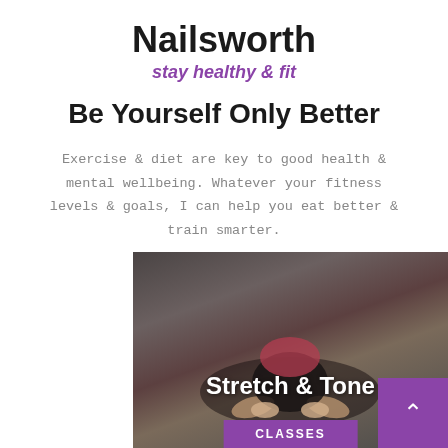Nailsworth
stay healthy & fit
Be Yourself Only Better
Exercise & diet are key to good health & mental wellbeing. Whatever your fitness levels & goals, I can help you eat better & train smarter.
[Figure (photo): A person doing a forward fold stretch pose, viewed from above. Overlay text reads 'Stretch & Tone' with a purple 'CLASSES' button below.]